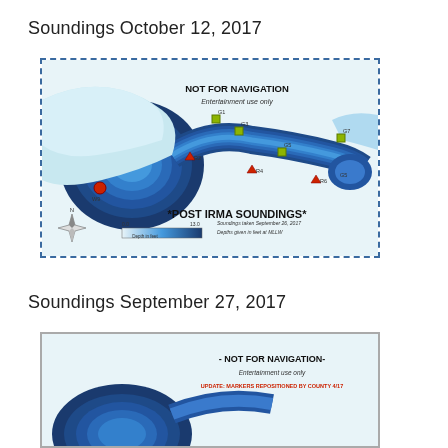Soundings October 12, 2017
[Figure (map): Nautical depth sounding map labeled 'NOT FOR NAVIGATION - Entertainment use only' and '*POST IRMA SOUNDINGS*'. Shows a waterway with contour depth shading in blues, navigation markers (green squares G1, G3, G5, G7 and red triangles R2, R4, R6), a red circle labeled W9, a north compass rose, and a depth legend (0.0 to 13.0 Depth in feet). Notes: 'Soundings taken September 26, 2017' and 'Depths given in feet at MLLW'.]
Soundings September 27, 2017
[Figure (map): Partial nautical depth sounding map labeled '- NOT FOR NAVIGATION -', 'Entertainment use only', and 'UPDATE: MARKERS REPOSITIONED BY COUNTY 4/17' in red text. Shows blue depth contours partially visible at bottom of page.]